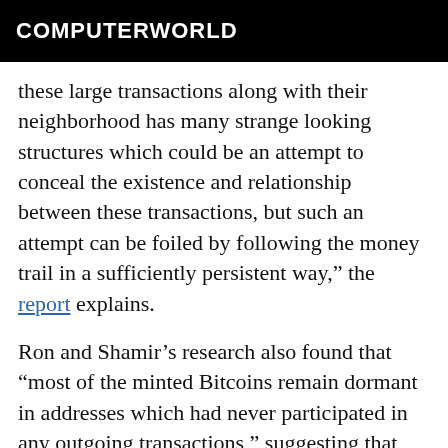COMPUTERWORLD
these large transactions along with their neighborhood has many strange looking structures which could be an attempt to conceal the existence and relationship between these transactions, but such an attempt can be foiled by following the money trail in a sufficiently persistent way," the report explains.
Ron and Shamir’s research also found that “most of the minted Bitcoins remain dormant in addresses which had never participated in any outgoing transactions,” suggesting that these accounts were created to store, but never use, the Bitcoins belonging to the system’s creator. Harvey believes these accounts have never made outgoing transactions because